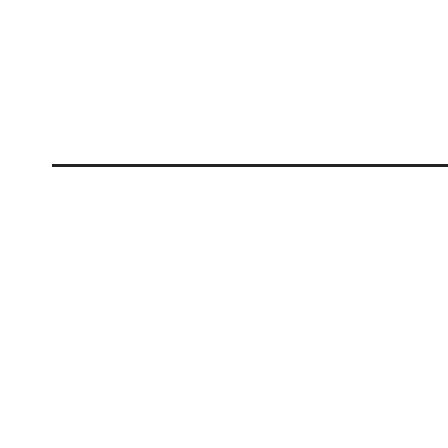[Figure (other): Horizontal divider line across the page]
[Figure (screenshot): Chat bubble widget: 'Want to ask a Solicitor online now? I can connect you ...' with a female avatar and notification badge showing 1]
[Figure (other): Advertisement box for Petco: 'Your One-Stop Summer Pet Shop' with Petco logo, brand name in blue, navigation arrow icon, and play button icon]